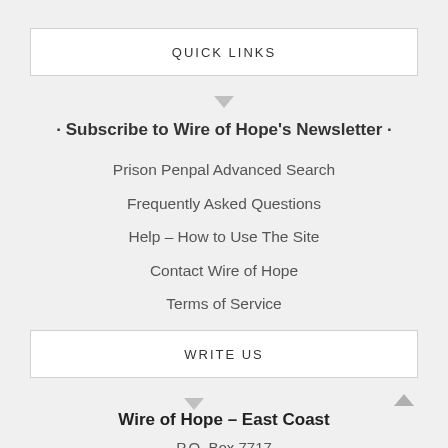QUICK LINKS
· Subscribe to Wire of Hope's Newsletter ·
Prison Penpal Advanced Search
Frequently Asked Questions
Help – How to Use The Site
Contact Wire of Hope
Terms of Service
Site Map
WRITE US
Wire of Hope – East Coast
P.O. Box 7717
Jacksonville, FL 32238